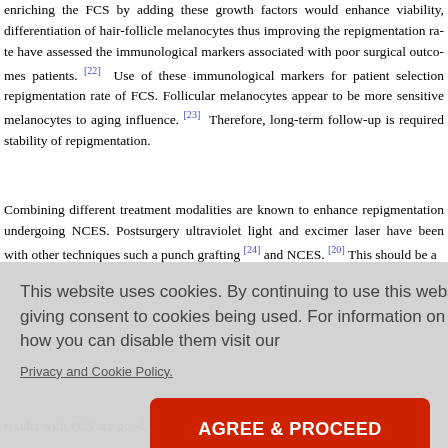enriching the FCS by adding these growth factors would enhance viability, differentiation of hair-follicle melanocytes thus improving the repigmentation rate have assessed the immunological markers associated with poor surgical outcomes patients. [22] Use of these immunological markers for patient selection repigmentation rate of FCS. Follicular melanocytes appear to be more sensitive melanocytes to aging influence. [23] Therefore, long-term follow-up is required stability of repigmentation.
Combining different treatment modalities are known to enhance repigmentation undergoing NCES. Postsurgery ultraviolet light and excimer laser have been with other techniques such a punch grafting [24] and NCES. [20] This should be a
This website uses cookies. By continuing to use this website you are giving consent to cookies being used. For information on cookies and how you can disable them visit our
Privacy and Cookie Policy.
AGREE & PROCEED
vitiligo and hem a new a new dire nt of basic b results with FCS are good, but better outcomes can be expected, as ORS is t